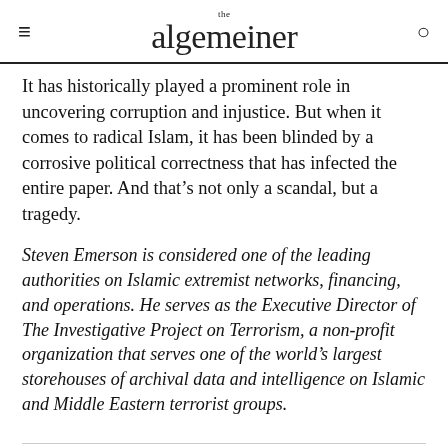the algemeiner
It has historically played a prominent role in uncovering corruption and injustice. But when it comes to radical Islam, it has been blinded by a corrosive political correctness that has infected the entire paper. And that’s not only a scandal, but a tragedy.
Steven Emerson is considered one of the leading authorities on Islamic extremist networks, financing, and operations. He serves as the Executive Director of The Investigative Project on Terrorism, a non-profit organization that serves one of the world’s largest storehouses of archival data and intelligence on Islamic and Middle Eastern terrorist groups.